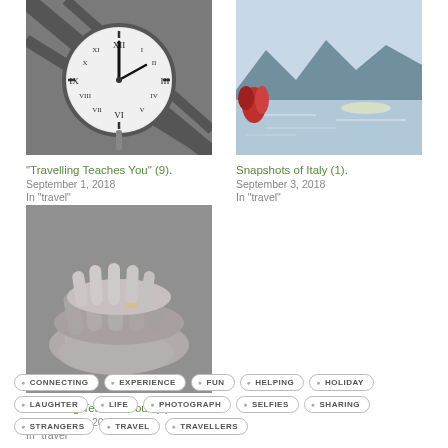[Figure (photo): Black and white photo of a large clock hanging from ceiling]
"Travelling Teaches You" (9).
September 1, 2018
In "travel"
[Figure (photo): Photo of a lake or sea with mountains in background and red flowers]
Snapshots of Italy (1).
September 3, 2018
In "travel"
[Figure (photo): Black and white photo of hands stacked on top of each other]
"Travelling Teaches You" (5)
September 1, 2018
In "travel"
CONNECTING
EXPERIENCE
FUN
HELPING
HOLIDAY
LAUGHTER
LIFE
PHOTOGRAPH
SELFIES
SHARING
STRANGERS
TRAVEL
TRAVELLERS